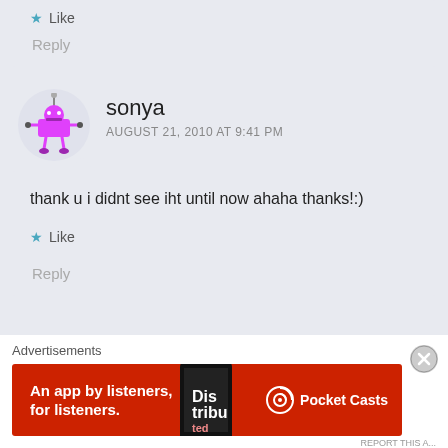Like
Reply
sonya
AUGUST 21, 2010 AT 9:41 PM
thank u i didnt see iht until now ahaha thanks!:)
Like
Reply
Advertisements
[Figure (screenshot): Pocket Casts ad banner: red background with phone image, text 'An app by listeners, for listeners.' and Pocket Casts logo]